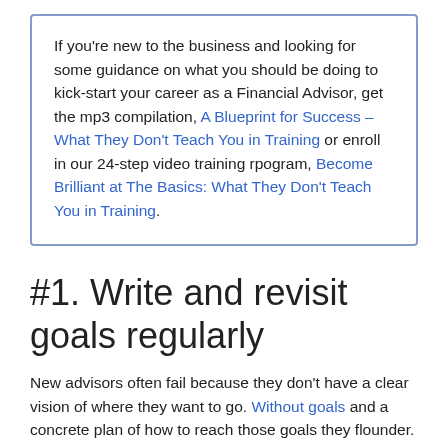If you're new to the business and looking for some guidance on what you should be doing to kick-start your career as a Financial Advisor, get the mp3 compilation, A Blueprint for Success – What They Don't Teach You in Training or enroll in our 24-step video training rpogram, Become Brilliant at The Basics: What They Don't Teach You in Training.
#1. Write and revisit goals regularly
New advisors often fail because they don't have a clear vision of where they want to go. Without goals and a concrete plan of how to reach those goals they flounder. In order to succeed in this, as in any business, you need to work out a realistic business plan and re-visit it, often.